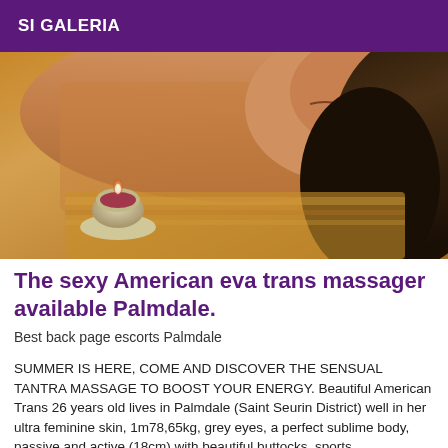SI GALERIA
[Figure (photo): A person lying face down on a massage table with a lit candle in a holder in the foreground, warm tones, spa/massage setting.]
The sexy American eva trans massager available Palmdale.
Best back page escorts Palmdale
SUMMER IS HERE, COME AND DISCOVER THE SENSUAL TANTRA MASSAGE TO BOOST YOUR ENERGY. Beautiful American Trans 26 years old lives in Palmdale (Saint Seurin District) well in her ultra feminine skin, 1m78,65kg, grey eyes, a perfect sublime body, passive and active (18cm) with beautiful buttocks, sports